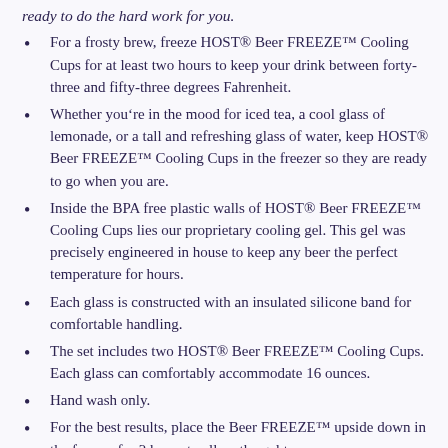ready to do the hard work for you.
For a frosty brew, freeze HOST® Beer FREEZE™ Cooling Cups for at least two hours to keep your drink between forty-three and fifty-three degrees Fahrenheit.
Whether you're in the mood for iced tea, a cool glass of lemonade, or a tall and refreshing glass of water, keep HOST® Beer FREEZE™ Cooling Cups in the freezer so they are ready to go when you are.
Inside the BPA free plastic walls of HOST® Beer FREEZE™ Cooling Cups lies our proprietary cooling gel. This gel was precisely engineered in house to keep any beer the perfect temperature for hours.
Each glass is constructed with an insulated silicone band for comfortable handling.
The set includes two HOST® Beer FREEZE™ Cooling Cups. Each glass can comfortably accommodate 16 ounces.
Hand wash only.
For the best results, place the Beer FREEZE™ upside down in the freezer for 2 hours to allow the gel to